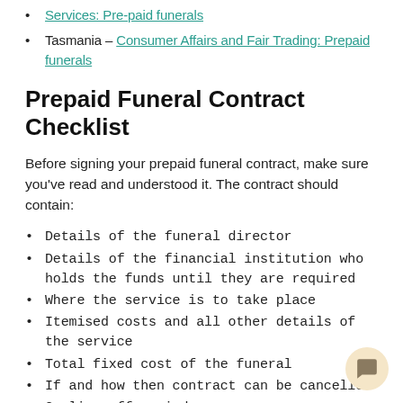Services: Pre-paid funerals (link)
Tasmania – Consumer Affairs and Fair Trading: Prepaid funerals (link)
Prepaid Funeral Contract Checklist
Before signing your prepaid funeral contract, make sure you've read and understood it. The contract should contain:
Details of the funeral director
Details of the financial institution who holds the funds until they are required
Where the service is to take place
Itemised costs and all other details of the service
Total fixed cost of the funeral
If and how then contract can be cancelled
Cooling off period
What happens if the funeral director goes out of